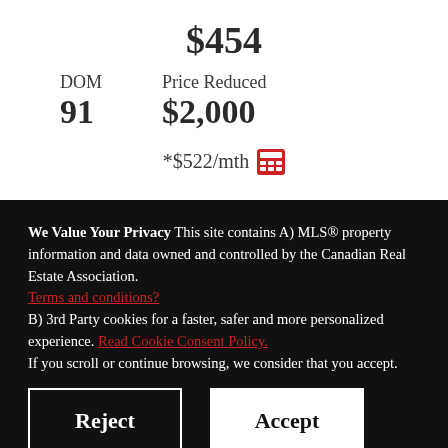$454
DOM 91  Price Reduced $2,000
*$522/mth
We Value Your Privacy This site contains A) MLS® property information and data owned and controlled by the Canadian Real Estate Association. Terms and conditions? B) 3rd Party cookies for a faster, safer and more personalized experience. Read Cookie Consent Policy. If you scroll or continue browsing, we consider that you accept.
Reject
Accept